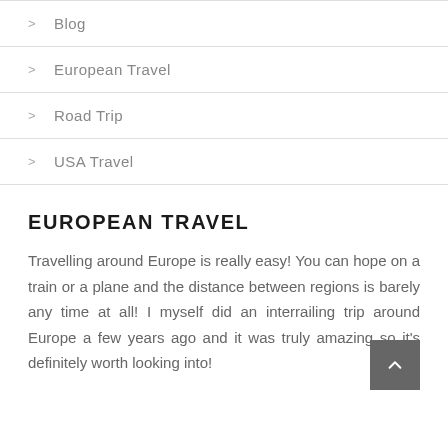> Blog
> European Travel
> Road Trip
> USA Travel
EUROPEAN TRAVEL
Travelling around Europe is really easy! You can hope on a train or a plane and the distance between regions is barely any time at all! I myself did an interrailing trip around Europe a few years ago and it was truly amazing so it's definitely worth looking into!